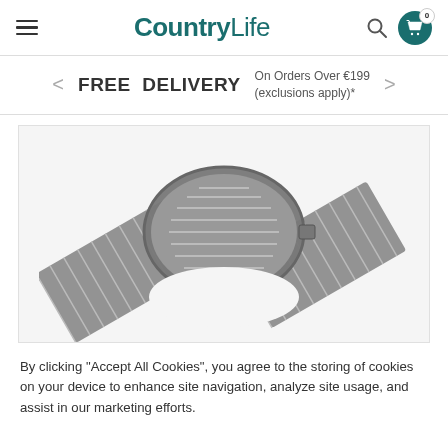CountryLife — FREE DELIVERY On Orders Over €199 (exclusions apply)*
[Figure (photo): A cast iron BBQ grill grate with a circular center section and two rectangular side extensions, shown on a white background. The grate is dark grey/black metal.]
By clicking "Accept All Cookies", you agree to the storing of cookies on your device to enhance site navigation, analyze site usage, and assist in our marketing efforts.